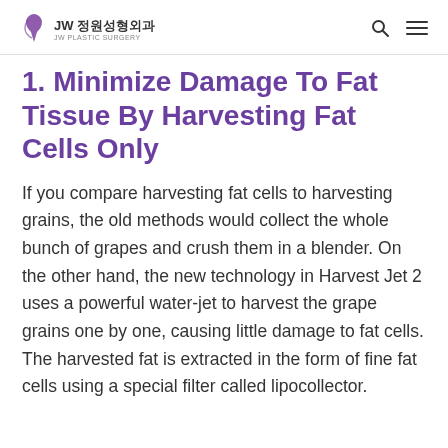JW 정원성형외과 JW PLASTIC SURGERY
1. Minimize Damage To Fat Tissue By Harvesting Fat Cells Only
If you compare harvesting fat cells to harvesting grains, the old methods would collect the whole bunch of grapes and crush them in a blender. On the other hand, the new technology in Harvest Jet 2 uses a powerful water-jet to harvest the grape grains one by one, causing little damage to fat cells. The harvested fat is extracted in the form of fine fat cells using a special filter called lipocollector.